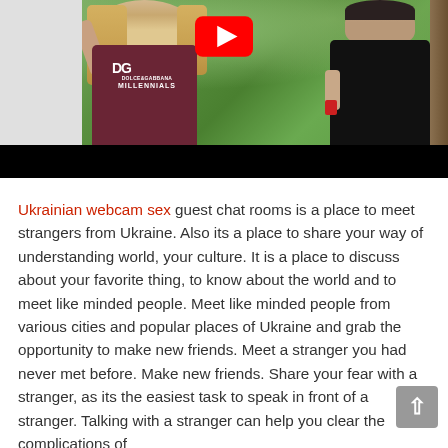[Figure (photo): YouTube video thumbnail showing two people outdoors with greenery in the background. Left person is a blonde woman wearing a dark maroon Dolce & Gabbana Millennials t-shirt. Right person is wearing a black t-shirt. A YouTube play button icon is visible in the upper center area. The bottom of the thumbnail has a black bar.]
Ukrainian webcam sex guest chat rooms is a place to meet strangers from Ukraine. Also its a place to share your way of understanding world, your culture. It is a place to discuss about your favorite thing, to know about the world and to meet like minded people. Meet like minded people from various cities and popular places of Ukraine and grab the opportunity to make new friends. Meet a stranger you had never met before. Make new friends. Share your fear with a stranger, as its the easiest task to speak in front of a stranger. Talking with a stranger can help you clear the complications of